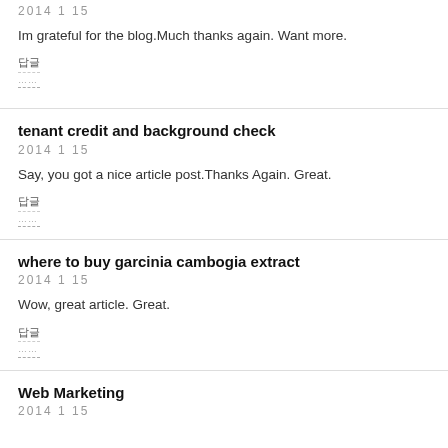2014  1  15
Im grateful for the blog.Much thanks again. Want more.
답글
tenant credit and background check
2014  1  15
Say, you got a nice article post.Thanks Again. Great.
답글
where to buy garcinia cambogia extract
2014  1  15
Wow, great article. Great.
답글
Web Marketing
2014  1  15